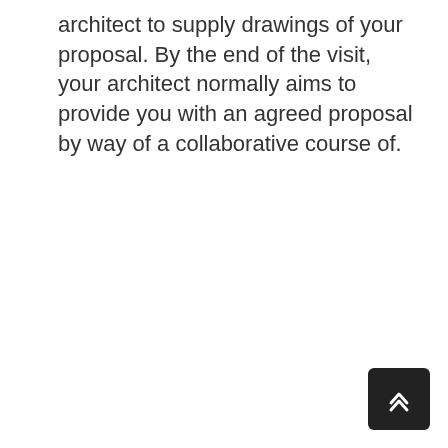architect to supply drawings of your proposal. By the end of the visit, your architect normally aims to provide you with an agreed proposal by way of a collaborative course of.